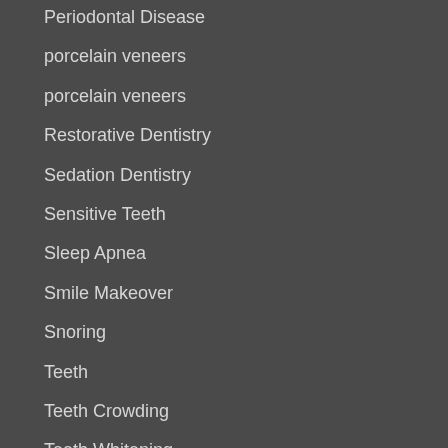Periodontal Disease
porcelain veneers
porcelain veneers
Restorative Dentistry
Sedation Dentistry
Sensitive Teeth
Sleep Apnea
Smile Makeover
Snoring
Teeth
Teeth Crowding
Teeth Whitening
Uncategorized
Veneers
Weight Gain